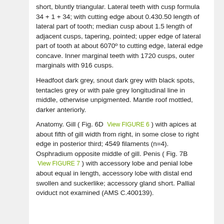short, bluntly triangular. Lateral teeth with cusp formula 34 + 1 + 34; with cutting edge about 0.430.50 length of lateral part of tooth; median cusp about 1.5 length of adjacent cusps, tapering, pointed; upper edge of lateral part of tooth at about 6070º to cutting edge, lateral edge concave. Inner marginal teeth with 1720 cusps, outer marginals with 916 cusps.
Headfoot dark grey, snout dark grey with black spots, tentacles grey or with pale grey longitudinal line in middle, otherwise unpigmented. Mantle roof mottled, darker anteriorly.
Anatomy. Gill ( Fig. 6D [View FIGURE 6] ) with apices at about fifth of gill width from right, in some close to right edge in posterior third; 4549 filaments (n=4). Osphradium opposite middle of gill. Penis ( Fig. 7B [View FIGURE 7] ) with accessory lobe and penial lobe about equal in length, accessory lobe with distal end swollen and suckerlike; accessory gland short. Pallial oviduct not examined (AMS C.400139).